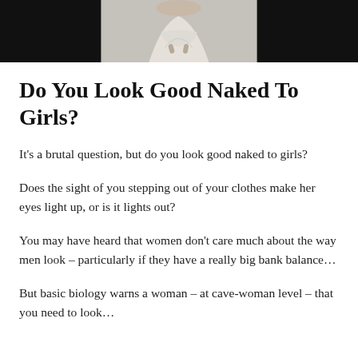[Figure (photo): Partial photo of a person in a light grey dress, cropped to show torso and hands, against a light background with dark borders on left and right]
Do You Look Good Naked To Girls?
It's a brutal question, but do you look good naked to girls?
Does the sight of you stepping out of your clothes make her eyes light up, or is it lights out?
You may have heard that women don't care much about the way men look – particularly if they have a really big bank balance…
But basic biology warns a woman – at cave-woman level – that you need to look…